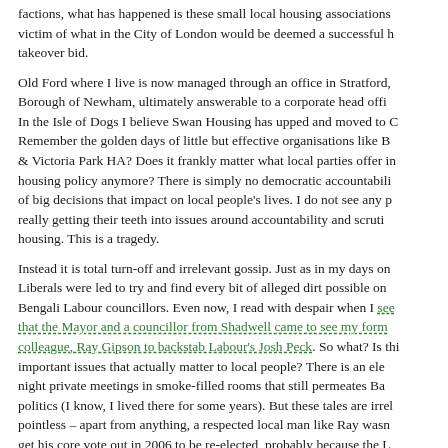factions, what has happened is these small local housing associations have become victim of what in the City of London would be deemed a successful hostile takeover bid.
Old Ford where I live is now managed through an office in Stratford, Borough of Newham, ultimately answerable to a corporate head office. In the Isle of Dogs I believe Swan Housing has upped and moved to Croydon. Remember the golden days of little but effective organisations like Bow & Victoria Park HA? Does it frankly matter what local parties offer in housing policy anymore? There is simply no democratic accountability of big decisions that impact on local people's lives. I do not see any parties really getting their teeth into issues around accountability and scrutiny in housing. This is a tragedy.
Instead it is total turn-off and irrelevant gossip. Just as in my days on the council, Liberals were led to try and find every bit of alleged dirt possible on Bengali Labour councillors. Even now, I read with despair when I see that the Mayor and a councillor from Shadwell came to see my former colleague, Ray Gipson to backstab Labour's Josh Peck. So what? Is this more important issues that actually matter to local people? There is an element of late night private meetings in smoke-filled rooms that still permeates Bangladeshi politics (I know, I lived there for some years). But these tales are irrelevant and pointless – apart from anything, a respected local man like Ray wasn't able to get his core vote out in 2006 to be re-elected, probably because the Labour councillors from around the area did not canvas for him. So asking him